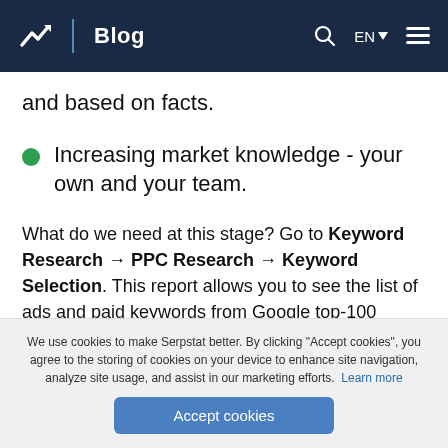Blog
and based on facts.
Increasing market knowledge - your own and your team.
What do we need at this stage? Go to Keyword Research → PPC Research → Keyword Selection. This report allows you to see the list of ads and paid keywords from Google top-100 results.
We use cookies to make Serpstat better. By clicking "Accept cookies", you agree to the storing of cookies on your device to enhance site navigation, analyze site usage, and assist in our marketing efforts. Learn more
Accept cookies